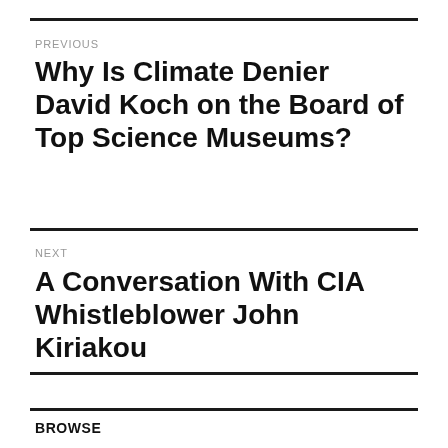PREVIOUS
Why Is Climate Denier David Koch on the Board of Top Science Museums?
NEXT
A Conversation With CIA Whistleblower John Kiriakou
BROWSE